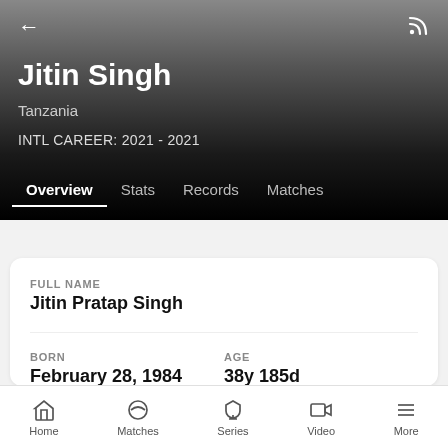Jitin Singh | Tanzania | INTL CAREER: 2021 - 2021
Overview  Stats  Records  Matches
| Field | Value |
| --- | --- |
| FULL NAME | Jitin Pratap Singh |
| BORN | February 28, 1984 |
| AGE | 38y 185d |
| BATTING STYLE | Right-hand Bat... |
| BOWLING STYLE | Right-arm Medi... |
Home  Matches  Series  Video  More